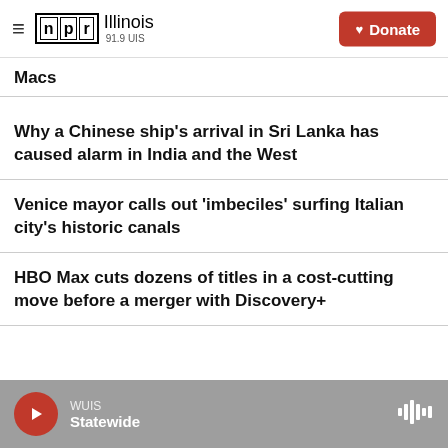NPR Illinois 91.9 UIS | Donate
Macs
Why a Chinese ship's arrival in Sri Lanka has caused alarm in India and the West
Venice mayor calls out 'imbeciles' surfing Italian city's historic canals
HBO Max cuts dozens of titles in a cost-cutting move before a merger with Discovery+
WUIS Statewide